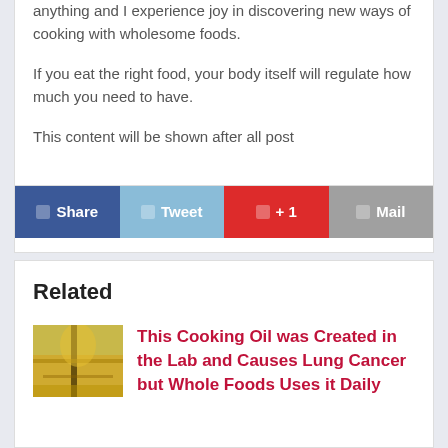anything and I experience joy in discovering new ways of cooking with wholesome foods.
If you eat the right food, your body itself will regulate how much you need to have.
This content will be shown after all post
Related
This Cooking Oil was Created in the Lab and Causes Lung Cancer but Whole Foods Uses it Daily